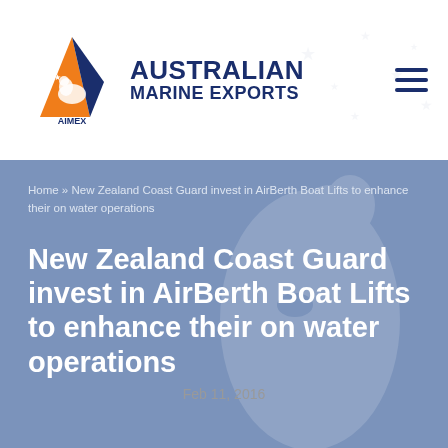AUSTRALIAN MARINE EXPORTS
Home » New Zealand Coast Guard invest in AirBerth Boat Lifts to enhance their on water operations
New Zealand Coast Guard invest in AirBerth Boat Lifts to enhance their on water operations
Feb 11, 2016